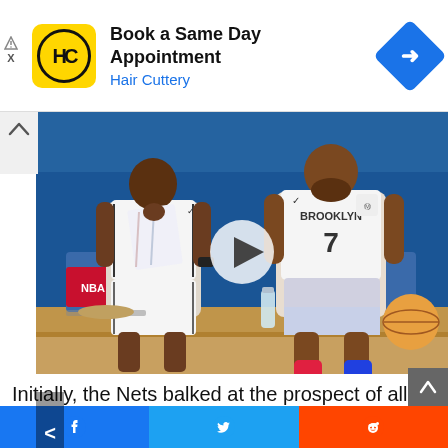[Figure (screenshot): Ad banner for Hair Cuttery with logo, text 'Book a Same Day Appointment / Hair Cuttery', and a blue diamond arrow icon. Small ad indicator arrows and X on left side.]
[Figure (photo): Two Brooklyn Nets basketball players (Kyrie Irving and Kevin Durant, #7) sitting on the bench in white Brooklyn jerseys. Blue arena background. Video play button overlay visible. Collapse/minimize button at top-left corner.]
[Figure (screenshot): Thumbnail strip with four small images: (1) Two Nets players on court, (2) Golden car with text overlay, (3) Baseball/crowd scene with player #5, (4) Purple/blue Lakers scene with CERTIFIED PLAYOFFS text. Left arrow for navigation.]
Initially, the Nets balked at the prospect of allowing
[Figure (screenshot): Bottom social share bar with Facebook (blue), Twitter (light blue), and Reddit (orange-red) icons.]